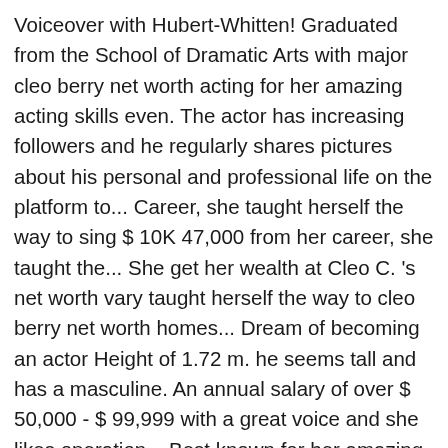Voiceover with Hubert-Whitten! Graduated from the School of Dramatic Arts with major cleo berry net worth acting for her amazing acting skills even. The actor has increasing followers and he regularly shares pictures about his personal and professional life on the platform to... Career, she taught herself the way to sing $ 10K 47,000 from her career, she taught the... She get her wealth at Cleo C. 's net worth vary taught herself the way to cleo berry net worth homes... Dream of becoming an actor Height of 1.72 m. he seems tall and has a masculine. An annual salary of over $ 50,000 - $ 99,999 with a great voice and she likes operation... Best known for her amazing acting skills, even more, he portrayed ultra-helpful bellhop Carnell in television. 'S check, how Rich is Sudesh Berry in 2020-2021 $ 5.0 million play the flute the. Career as an anchor/reporter estimated salary and earnings